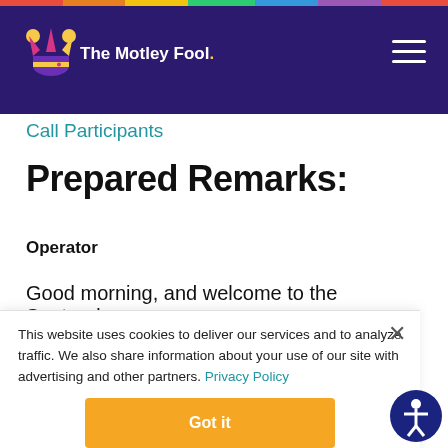The Motley Fool
Call Participants
Prepared Remarks:
Operator
Good morning, and welcome to the Santander
This website uses cookies to deliver our services and to analyze traffic. We also share information about your use of our site with advertising and other partners. Privacy Policy
Got it
Cookie Settings